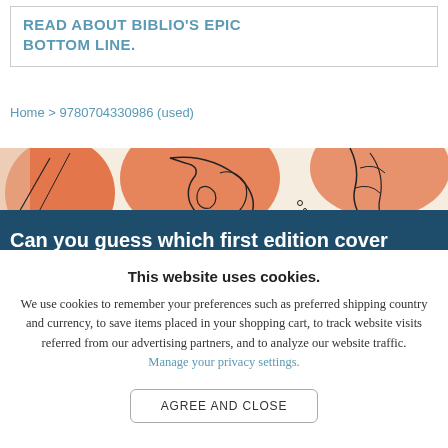READ ABOUT BIBLIO'S EPIC BOTTOM LINE.
Home > 9780704330986 (used)
[Figure (illustration): Partial book cover image showing orange and cream decorative illustration with abstract figures]
Can you guess which first edition cover
This website uses cookies.
We use cookies to remember your preferences such as preferred shipping country and currency, to save items placed in your shopping cart, to track website visits referred from our advertising partners, and to analyze our website traffic. Manage your privacy settings.
AGREE AND CLOSE